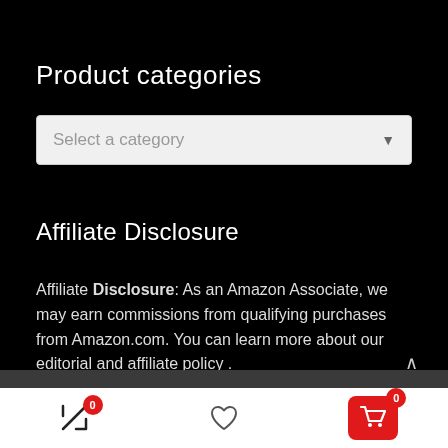Product categories
[Figure (screenshot): Dropdown selector with placeholder text 'Select a category' and a dropdown arrow]
Affiliate Disclosure
Affiliate Disclosure: As an Amazon Associate, we may earn commissions from qualifying purchases from Amazon.com. You can learn more about our editorial and affiliate policy .
[Figure (screenshot): Bottom navigation bar with compare icon (badge 0), heart/wishlist icon, and red cart button (badge 0)]